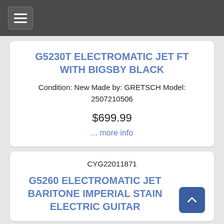Navigation menu
G5230T ELECTROMATIC JET FT WITH BIGSBY BLACK
Condition: New Made by: GRETSCH Model: 2507210506
$699.99
... more info
CYG22011871
G5260 ELECTROMATIC JET BARITONE IMPERIAL STAIN ELECTRIC GUITAR